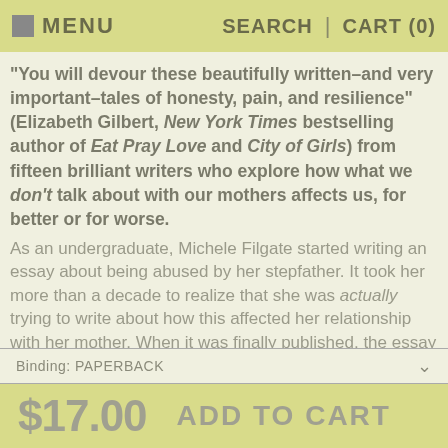MENU   SEARCH | CART (0)
"You will devour these beautifully written–and very important–tales of honesty, pain, and resilience" (Elizabeth Gilbert, New York Times bestselling author of Eat Pray Love and City of Girls) from fifteen brilliant writers who explore how what we don't talk about with our mothers affects us, for better or for worse.
As an undergraduate, Michele Filgate started writing an essay about being abused by her stepfather. It took her more than a decade to realize that she was actually trying to write about how this affected her relationship with her mother. When it was finally published, the essay went viral, shared on social media by
Binding: PAPERBACK
$17.00   ADD TO CART